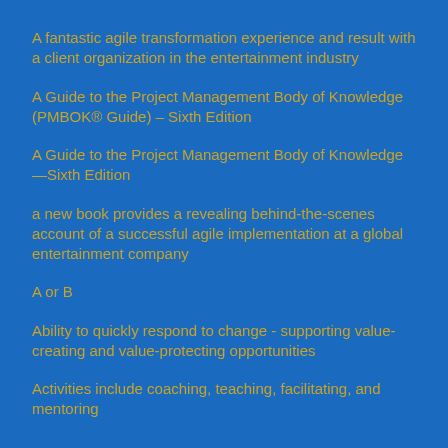A fantastic agile transformation experience and result with a client organization in the entertainment industry
A Guide to the Project Management Body of Knowledge (PMBOK® Guide) – Sixth Edition
A Guide to the Project Management Body of Knowledge—Sixth Edition
a new book provides a revealing behind-the-scenes account of a successful agile implementation at a global entertainment company
A or B
Ability to quickly respond to change - supporting value-creating and value-protecting opportunities
Activities include coaching, teaching, facilitating, and mentoring